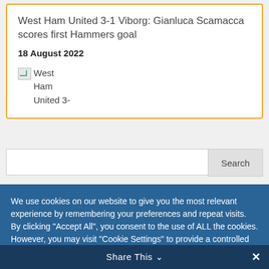West Ham United 3-1 Viborg: Gianluca Scamacca scores first Hammers goal
18 August 2022
[Figure (other): Broken image placeholder showing 'West Ham United 3-' text with broken image icon]
Search
We use cookies on our website to give you the most relevant experience by remembering your preferences and repeat visits. By clicking "Accept All", you consent to the use of ALL the cookies. However, you may visit "Cookie Settings" to provide a controlled consent.
Cookie Settings
Accept All
Share This ∨